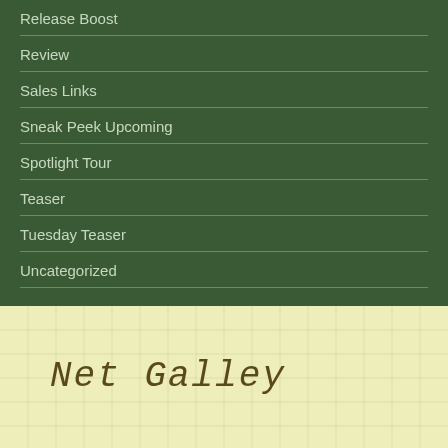Release Boost
Review
Sales Links
Sneak Peek Upcoming
Spotlight Tour
Teaser
Tuesday Teaser
Uncategorized
Net Galley